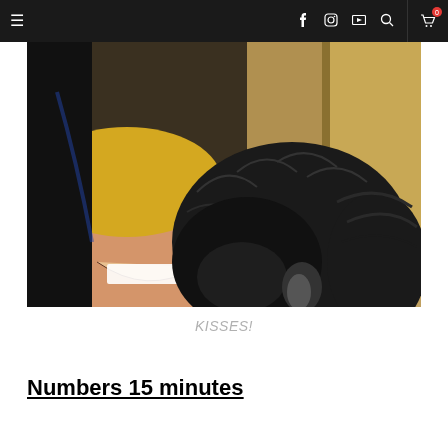Navigation bar with hamburger menu, social icons (Facebook, Instagram, YouTube), search icon, and cart (0)
[Figure (photo): A smiling woman with blonde hair being kissed/nuzzled by a small black fluffy dog, taken as a selfie indoors]
KISSES!
Numbers 15 minutes